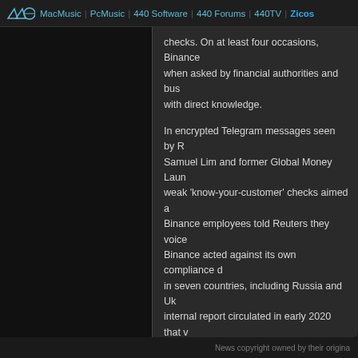440 | MacMusic | PcMusic | 440 Software | 440 Forums | 440TV | Zicos
checks. On at least four occasions, Binance when asked by financial authorities and bus with direct knowledge.
In encrypted Telegram messages seen by R Samuel Lim and former Global Money Laun weak 'know-your-customer' checks aimed a Binance employees told Reuters they voice Binance acted against its own compliance d in seven countries, including Russia and Uk internal report circulated in early 2020 that v compliance rules arranged with a German b staff.
Read more of this story at Slashdot.
Read more at Slashdot
https://slashdot.org/story/22/01/21/189229/binance-
News copyright owned by their origina